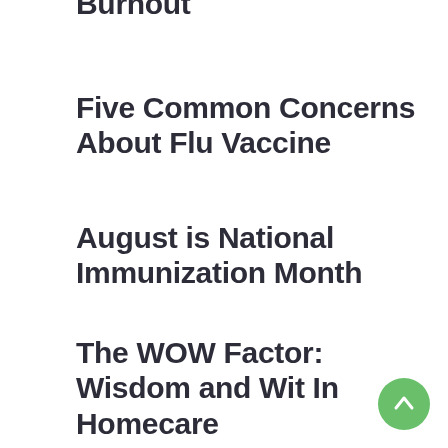Burnout
Five Common Concerns About Flu Vaccine
August is National Immunization Month
The WOW Factor: Wisdom and Wit In Homecare